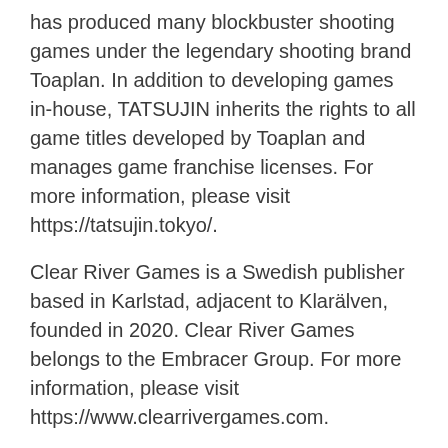has produced many blockbuster shooting games under the legendary shooting brand Toaplan. In addition to developing games in-house, TATSUJIN inherits the rights to all game titles developed by Toaplan and manages game franchise licenses. For more information, please visit https://tatsujin.tokyo/.
Clear River Games is a Swedish publisher based in Karlstad, adjacent to Klarälven, founded in 2020. Clear River Games belongs to the Embracer Group. For more information, please visit https://www.clearrivergames.com.
(C) TATSUJIN Co., Ltd. All Rights Reserved.
(C) CRT GAMES.
(C) DAEWON MEDIA CO., LTD.
To details of corporate press release
To PR TIMES top